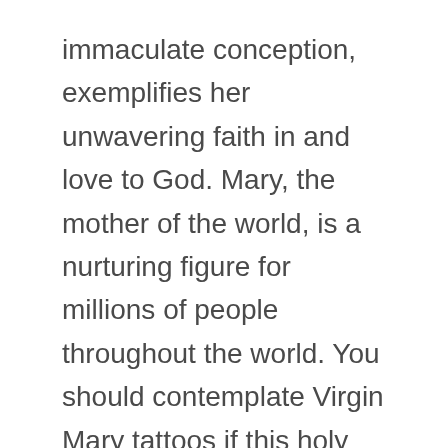immaculate conception, exemplifies her unwavering faith in and love to God. Mary, the mother of the world, is a nurturing figure for millions of people throughout the world. You should contemplate Virgin Mary tattoos if this holy mother has played a major role in your faith.
7. Cross Tattoos
Cross tattoos can be placed in different styles and methods, making them an easily